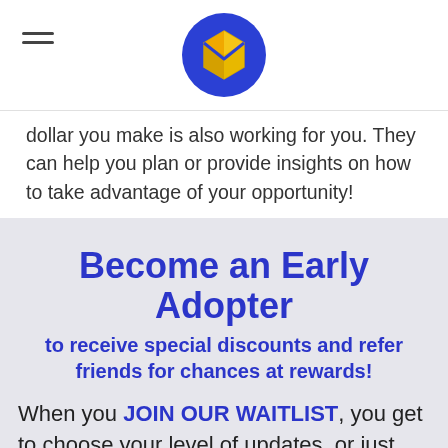[hamburger menu icon] [app logo]
dollar you make is also working for you. They can help you plan or provide insights on how to take advantage of your opportunity!
Become an Early Adopter
to receive special discounts and refer friends for chances at rewards!
When you JOIN OUR WAITLIST, you get to choose your level of updates, or just get a notification at launch.